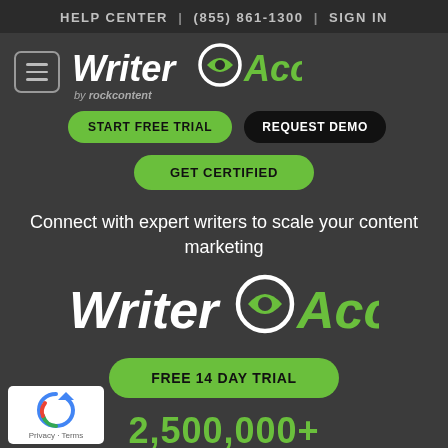HELP CENTER | (855) 861-1300 | SIGN IN
[Figure (logo): WriterAccess by rockcontent logo — 'Writer' in white, circular icon, 'Access' in green]
START FREE TRIAL
REQUEST DEMO
GET CERTIFIED
Connect with expert writers to scale your content marketing
[Figure (logo): Large WriterAccess logo — 'Writer' in white, circular icon, 'Access' in green]
FREE 14 DAY TRIAL
[Figure (other): Google reCAPTCHA widget with Privacy - Terms text]
2,500,000+